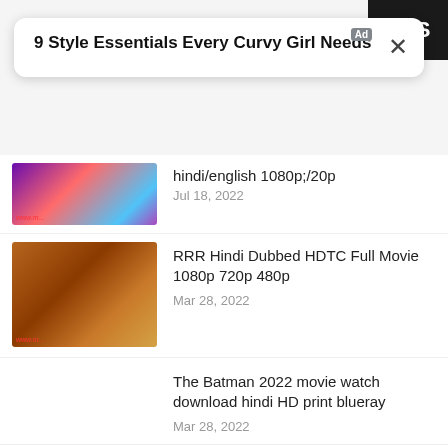[Figure (screenshot): Dark header strip top right with text 'NTS']
[Figure (screenshot): Ad popup overlay with title '9 Style Essentials Every Curvy Girl Needs' and close X button]
hindi/english 1080p;/20p
Jul 18, 2022
RRR Hindi Dubbed HDTC Full Movie 1080p 720p 480p
Mar 28, 2022
The Batman 2022 movie watch download hindi HD print blueray
Mar 28, 2022
moon knight 2022 marvel studio movie Hindi Dubbed HDTC Full Movie 1080p 720p 480p
Feb 20, 2022